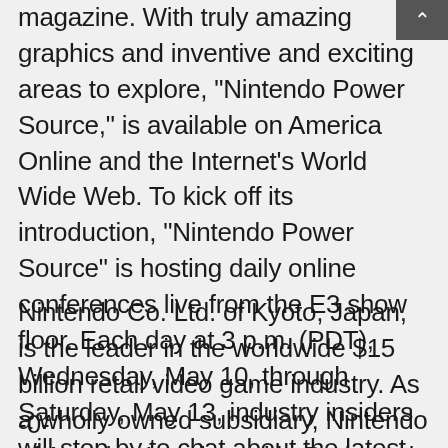magazine. With truly amazing graphics and inventive and exciting areas to explore, "Nintendo Power Source," is available on America Online and the Internet's World Wide Web. To kick off its introduction, "Nintendo Power Source" is hosting daily online conferences live from the E3 show floor. Each day at 3 p.m. (PDT), Wednesday, May 10, through Saturday, May 13, industry insiders will stop by to chat about the latest E3 introductions.
Nintendo Co. Ltd. of Kyoto, Japan, is the leader in the worldwide $15 billion retail video game industry. As a wholly owned subsidiary, Nintendo of America Inc., based in Redmond, Wash., serves as headquarters for Nintendo's operations in the Western Hemisphere, where more than 40 percent of American homes own a Nintendo system.